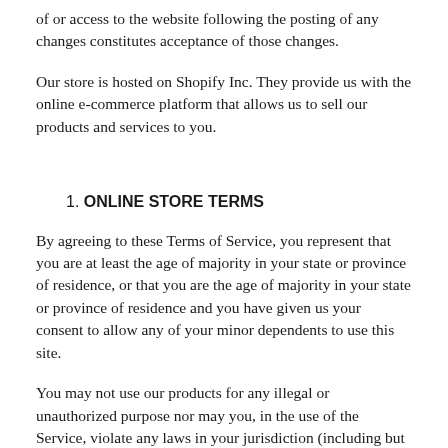of or access to the website following the posting of any changes constitutes acceptance of those changes.
Our store is hosted on Shopify Inc. They provide us with the online e-commerce platform that allows us to sell our products and services to you.
1. ONLINE STORE TERMS
By agreeing to these Terms of Service, you represent that you are at least the age of majority in your state or province of residence, or that you are the age of majority in your state or province of residence and you have given us your consent to allow any of your minor dependents to use this site.
You may not use our products for any illegal or unauthorized purpose nor may you, in the use of the Service, violate any laws in your jurisdiction (including but not limited to copyright laws).
You mu...